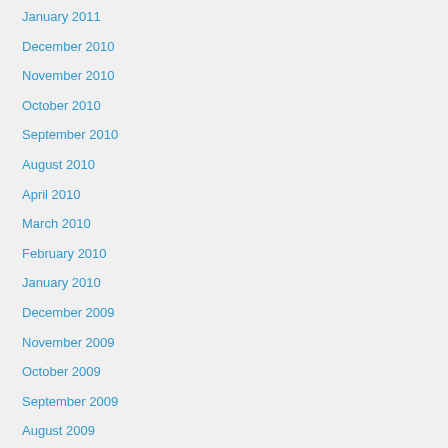January 2011
December 2010
November 2010
October 2010
September 2010
August 2010
April 2010
March 2010
February 2010
January 2010
December 2009
November 2009
October 2009
September 2009
August 2009